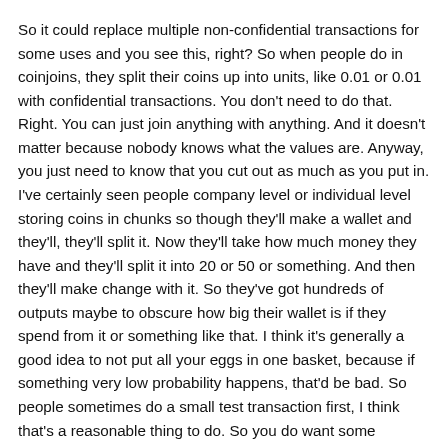So it could replace multiple non-confidential transactions for some uses and you see this, right? So when people do in coinjoins, they split their coins up into units, like 0.01 or 0.01 with confidential transactions. You don't need to do that. Right. You can just join anything with anything. And it doesn't matter because nobody knows what the values are. Anyway, you just need to know that you cut out as much as you put in. I've certainly seen people company level or individual level storing coins in chunks so though they'll make a wallet and they'll, they'll split it. Now they'll take how much money they have and they'll split it into 20 or 50 or something. And then they'll make change with it. So they've got hundreds of outputs maybe to obscure how big their wallet is if they spend from it or something like that. I think it's generally a good idea to not put all your eggs in one basket, because if something very low probability happens, that'd be bad. So people sometimes do a small test transaction first, I think that's a reasonable thing to do. So you do want some outputs, but you do get some back because they're more powerful transactions. So that's the argument